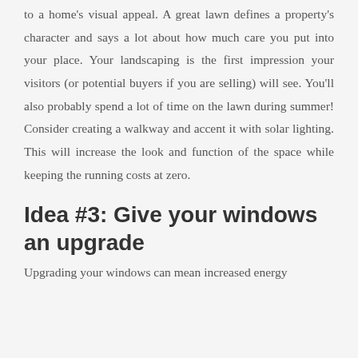to a home's visual appeal. A great lawn defines a property's character and says a lot about how much care you put into your place. Your landscaping is the first impression your visitors (or potential buyers if you are selling) will see. You'll also probably spend a lot of time on the lawn during summer! Consider creating a walkway and accent it with solar lighting. This will increase the look and function of the space while keeping the running costs at zero.
Idea #3: Give your windows an upgrade
Upgrading your windows can mean increased energy